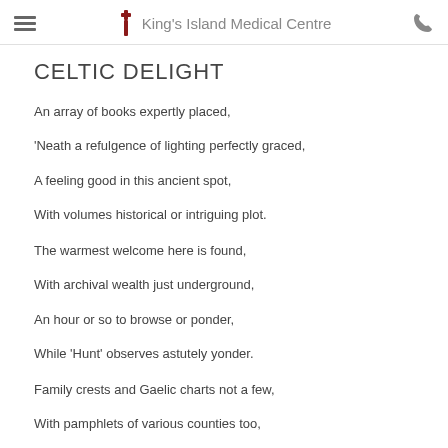King's Island Medical Centre
CELTIC DELIGHT
An array of books expertly placed,
'Neath a refulgence of lighting perfectly graced,
A feeling good in this ancient spot,
With volumes historical or intriguing plot.
The warmest welcome here is found,
With archival wealth just underground,
An hour or so to browse or ponder,
While 'Hunt' observes astutely yonder.
Family crests and Gaelic charts not a few,
With pamphlets of various counties too,
The window, an eclectic literary feast,
Displaying evergreens and newly released.
When at last you've gleaned this magical spot,